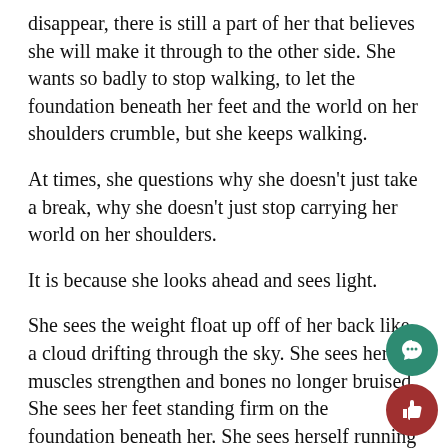disappear, there is still a part of her that believes she will make it through to the other side. She wants so badly to stop walking, to let the foundation beneath her feet and the world on her shoulders crumble, but she keeps walking.
At times, she questions why she doesn't just take a break, why she doesn't just stop carrying her world on her shoulders.
It is because she looks ahead and sees light.
She sees the weight float up off of her back like a cloud drifting through the sky. She sees her muscles strengthen and bones no longer bruised. She sees her feet standing firm on the foundation beneath her. She sees herself running freely, with no cares, no worries, no weight.
She will do whatever it takes to reach the light. She